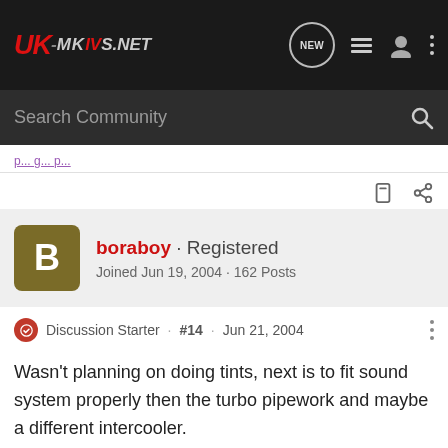UK-MKIVS.NET
Search Community
boraboy · Registered
Joined Jun 19, 2004 · 162 Posts
Discussion Starter · #14 · Jun 21, 2004
Wasn't planning on doing tints, next is to fit sound system properly then the turbo pipework and maybe a different intercooler.